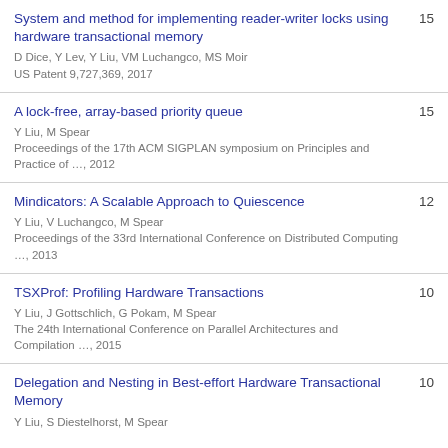System and method for implementing reader-writer locks using hardware transactional memory — D Dice, Y Lev, Y Liu, VM Luchangco, MS Moir — US Patent 9,727,369, 2017 — 15
A lock-free, array-based priority queue — Y Liu, M Spear — Proceedings of the 17th ACM SIGPLAN symposium on Principles and Practice of …, 2012 — 15
Mindicators: A Scalable Approach to Quiescence — Y Liu, V Luchangco, M Spear — Proceedings of the 33rd International Conference on Distributed Computing …, 2013 — 12
TSXProf: Profiling Hardware Transactions — Y Liu, J Gottschlich, G Pokam, M Spear — The 24th International Conference on Parallel Architectures and Compilation …, 2015 — 10
Delegation and Nesting in Best-effort Hardware Transactional Memory — Y Liu, S Diestelhorst, M Spear — 10